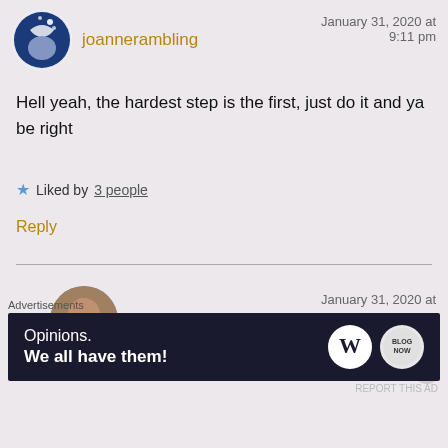joannerambling
January 31, 2020 at 9:11 pm
Hell yeah, the hardest step is the first, just do it and ya be right
Liked by 3 people
Reply
Shelly Ann v. Joseph
January 31, 2020 at
Advertisements
Opinions. We all have them!